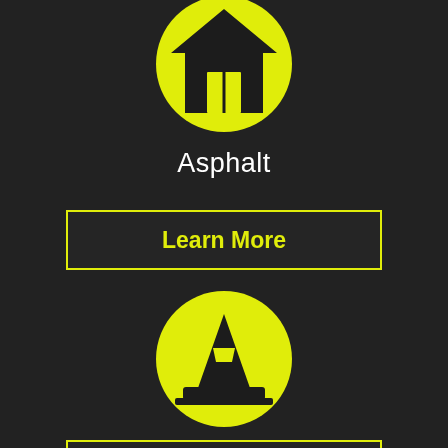[Figure (illustration): Yellow circle with a house icon (home icon) on dark background]
Asphalt
[Figure (illustration): Button with yellow border on dark background with yellow text 'Learn More']
[Figure (illustration): Yellow circle with a traffic cone icon on dark background]
Concrete
[Figure (illustration): Partially visible button with yellow border at bottom of page]